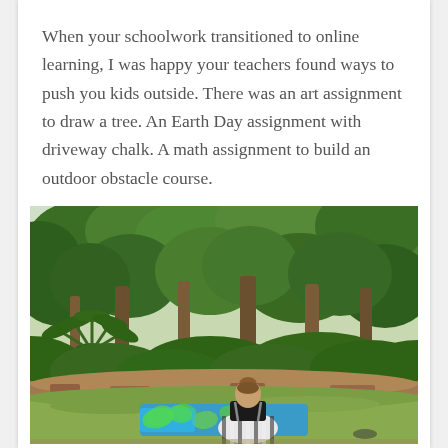When your schoolwork transitioned to online learning, I was happy your teachers found ways to push you kids outside. There was an art assignment to draw a tree. An Earth Day assignment with driveway chalk. A math assignment to build an outdoor obstacle course.
[Figure (photo): A child sitting cross-legged on a blue patterned blanket on grass, facing away from the camera toward a lush green wooded area with tall trees, palms, and dense shrubs. The child is wearing a black top and striped skirt.]